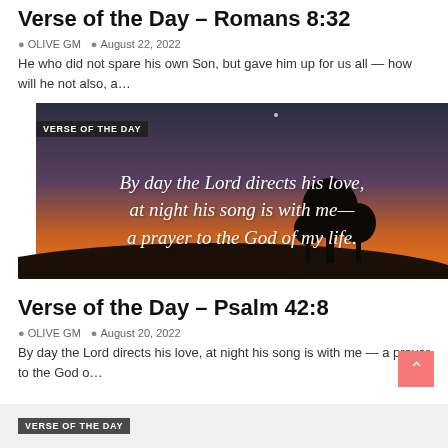Verse of the Day - Romans 8:32
OLIVE GM   August 22, 2022
He who did not spare his own Son, but gave him up for us all — how will he not also, a…
[Figure (photo): Sunset landscape with silhouetted trees and overlay text: VERSE OF THE DAY — By day the Lord directs his love, at night his song is with me— a prayer to the God of my life.]
Verse of the Day - Psalm 42:8
OLIVE GM   August 20, 2022
By day the Lord directs his love, at night his song is with me — a prayer to the God o…
[Figure (photo): Partial bottom strip showing gray background and VERSE OF THE DAY label]